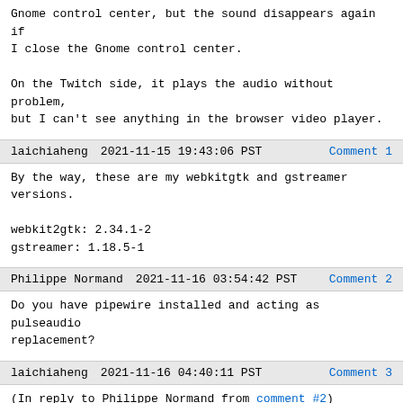Gnome control center, but the sound disappears again if I close the Gnome control center.

On the Twitch side, it plays the audio without problem, but I can't see anything in the browser video player.
laichiaheng   2021-11-15 19:43:06 PST   Comment 1
By the way, these are my webkitgtk and gstreamer versions.

webkit2gtk: 2.34.1-2
gstreamer: 1.18.5-1
Philippe Normand   2021-11-16 03:54:42 PST   Comment 2
Do you have pipewire installed and acting as pulseaudio replacement?
laichiaheng   2021-11-16 04:40:11 PST   Comment 3
(In reply to Philippe Normand from comment #2)
> Do you have pipewire installed and acting as pulseaudio replacement?

Yes, I do.